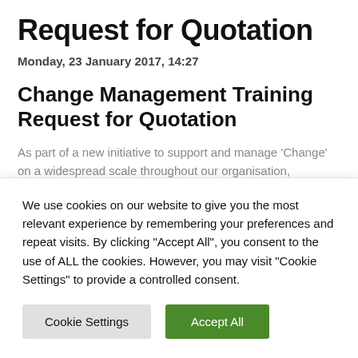Request for Quotation
Monday, 23 January 2017, 14:27
Change Management Training Request for Quotation
As part of a new initiative to support and manage ‘Change’ on a widespread scale throughout our organisation, Sandwell Council is forming a Change Academy.
Quotation for Change Management Training
We use cookies on our website to give you the most relevant experience by remembering your preferences and repeat visits. By clicking “Accept All”, you consent to the use of ALL the cookies. However, you may visit “Cookie Settings” to provide a controlled consent.
Cookie Settings
Accept All